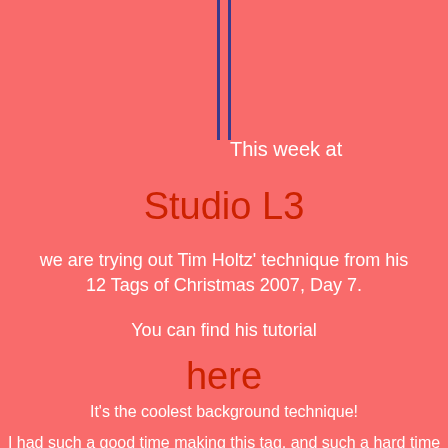[Figure (illustration): Two vertical dark blue/navy parallel lines running from top of page downward, like a decorative divider element.]
This week at
Studio L3
we are trying out Tim Holtz' technique from his 12 Tags of Christmas 2007, Day 7.
You can find his tutorial
here
It's the coolest background technique!
I had such a good time making this tag, and such a hard time photographing it.
(Did you notice that sequin on the left?  Where the heck did THAT come from??)